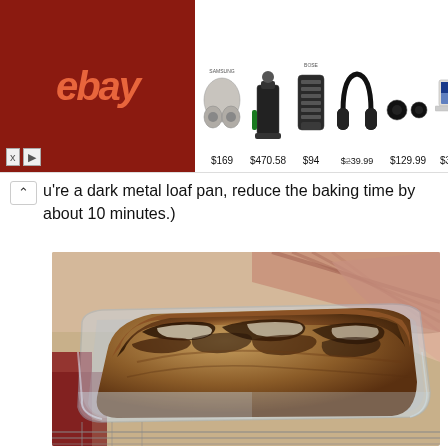[Figure (screenshot): eBay advertisement banner showing wireless earbuds ($169), robot vacuum ($470.58), Bluetooth speaker ($94), headphones ($239.99), earbuds ($129.99), and laptop ($349.99)]
u're a dark metal loaf pan, reduce the baking time by about 10 minutes.)
[Figure (photo): Close-up photograph of a baked chocolate swirl/marble loaf bread in a glass Pyrex loaf pan, held with a pink/red striped cloth, sitting on a cooling rack.]